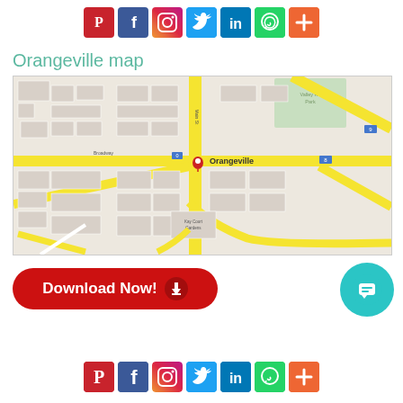[Figure (infographic): Row of 7 social media icon buttons: Pinterest (red), Facebook (blue), Instagram (gradient), Twitter (light blue), LinkedIn (dark blue), WhatsApp (green), Plus/share (orange)]
Orangeville map
[Figure (map): Street map of Orangeville showing road network with yellow major roads, grey city blocks, green park area in upper right, and a red location pin marker labeled Orangeville near the center.]
[Figure (infographic): Red rounded rectangle Download Now! button with white text and a downward arrow icon]
[Figure (infographic): Teal circular chat bubble / support button in lower right]
[Figure (infographic): Row of 7 social media icon buttons at bottom: Pinterest, Facebook, Instagram, Twitter, LinkedIn, WhatsApp, Plus/share (partially visible)]